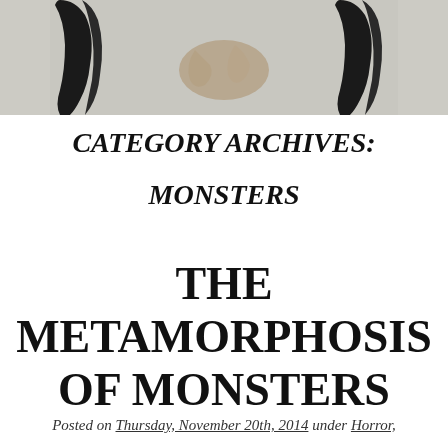[Figure (photo): Top portion of an image showing dark angular shapes (possibly claws or horns) against a light cracked wall background]
CATEGORY ARCHIVES:
MONSTERS
THE METAMORPHOSIS OF MONSTERS
Posted on Thursday, November 20th, 2014 under Horror,